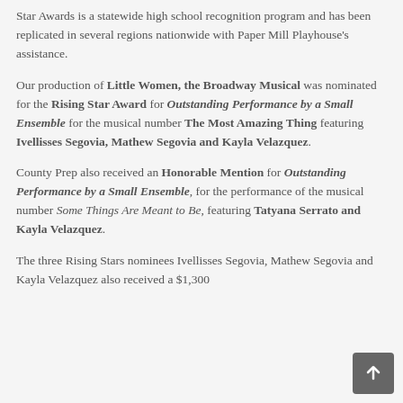Star Awards is a statewide high school recognition program and has been replicated in several regions nationwide with Paper Mill Playhouse's assistance.
Our production of Little Women, the Broadway Musical was nominated for the Rising Star Award for Outstanding Performance by a Small Ensemble for the musical number The Most Amazing Thing featuring Ivellisses Segovia, Mathew Segovia and Kayla Velazquez.
County Prep also received an Honorable Mention for Outstanding Performance by a Small Ensemble, for the performance of the musical number Some Things Are Meant to Be, featuring Tatyana Serrato and Kayla Velazquez.
The three Rising Stars nominees Ivellisses Segovia, Mathew Segovia and Kayla Velazquez also received a $1,300